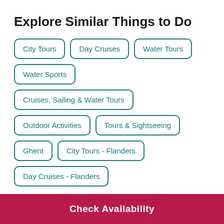Explore Similar Things to Do
City Tours
Day Cruises
Water Tours
Water Sports
Cruises, Sailing & Water Tours
Outdoor Activities
Tours & Sightseeing
Ghent
City Tours - Flanders
Day Cruises - Flanders
Check Availability